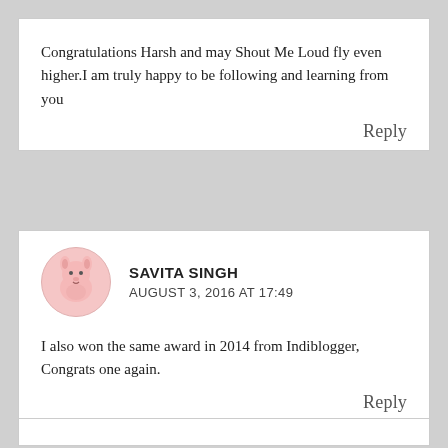Congratulations Harsh and may Shout Me Loud fly even higher.I am truly happy to be following and learning from you
Reply
SAVITA SINGH
AUGUST 3, 2016 AT 17:49
I also won the same award in 2014 from Indiblogger, Congrats one again.
Reply